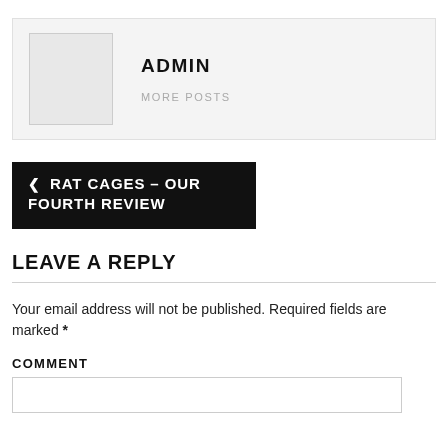[Figure (other): Author box with avatar placeholder and ADMIN name with MORE POSTS link]
ADMIN
MORE POSTS
< RAT CAGES – OUR FOURTH REVIEW
LEAVE A REPLY
Your email address will not be published. Required fields are marked *
COMMENT